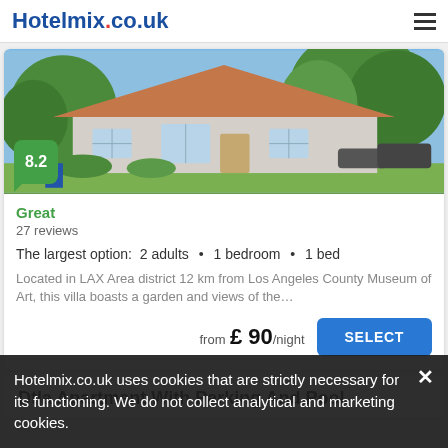Hotelmix.co.uk
[Figure (photo): Exterior photo of a single-story villa with brown roof, white walls, and green trees in the LAX Area district]
Great
27 reviews
The largest option:  2 adults  •  1 bedroom  •  1 bed
Located in LAX Area district 12 km from Los Angeles County Museum of Art, this villa boasts a garden and views of the...
from  £ 90/night
Dtla Apartment With Parking And Pool
Hotelmix.co.uk uses cookies that are strictly necessary for its functioning. We do not collect analytical and marketing cookies.